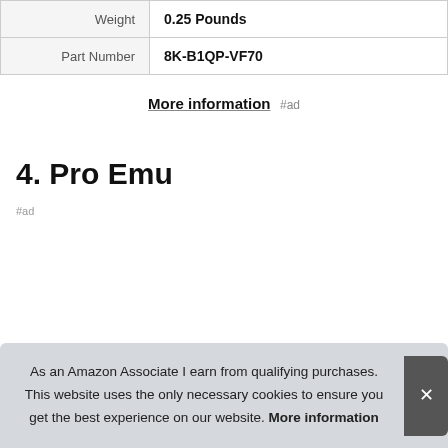| Weight | 0.25 Pounds |
| Part Number | 8K-B1QP-VF70 |
More information #ad
4. Pro Emu
#ad
As an Amazon Associate I earn from qualifying purchases. This website uses the only necessary cookies to ensure you get the best experience on our website. More information